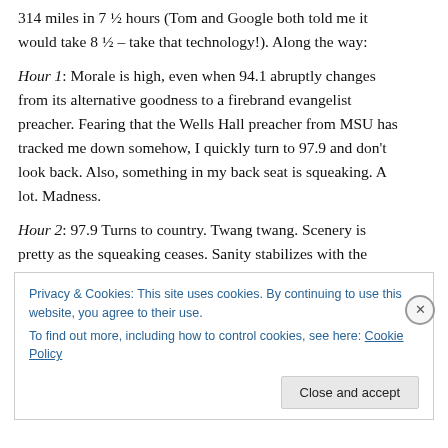314 miles in 7 ½ hours (Tom and Google both told me it would take 8 ½ – take that technology!). Along the way:
Hour 1: Morale is high, even when 94.1 abruptly changes from its alternative goodness to a firebrand evangelist preacher. Fearing that the Wells Hall preacher from MSU has tracked me down somehow, I quickly turn to 97.9 and don't look back. Also, something in my back seat is squeaking. A lot. Madness.
Hour 2: 97.9 Turns to country. Twang twang. Scenery is pretty as the squeaking ceases. Sanity stabilizes with the
Privacy & Cookies: This site uses cookies. By continuing to use this website, you agree to their use.
To find out more, including how to control cookies, see here: Cookie Policy